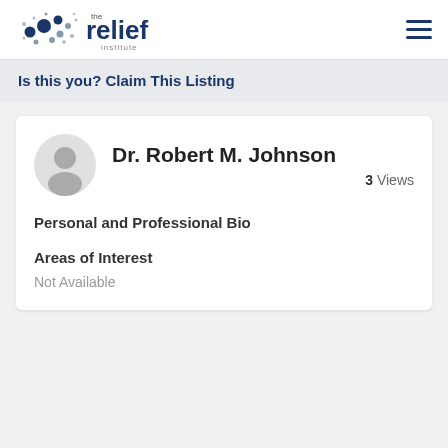[Figure (logo): The Relief Institute logo with dots graphic and text 'the relief institute']
Is this you? Claim This Listing
Dr. Robert M. Johnson
3 Views
Personal and Professional Bio
Areas of Interest
Not Available